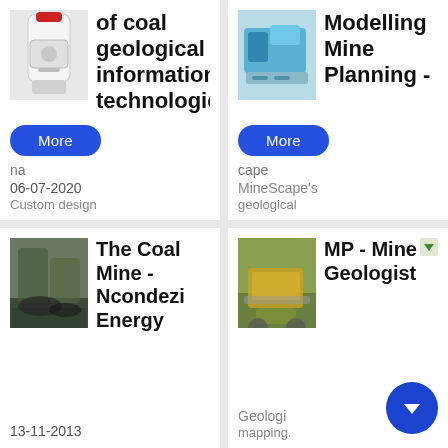[Figure (screenshot): Top-left card: industrial white equipment image, title truncated 'of coal geological information technologie', More button, date 06-07-2020, subtitle 'Custom design']
[Figure (screenshot): Top-right card: blue mining machine image, title 'Modelling Mine Planning -', More button, text 'MineScape's geological']
[Figure (screenshot): Bottom-left card: coal mine image, title 'The Coal Mine - Ncondezi Energy', date 13-11-2013]
[Figure (screenshot): Bottom-right card: yellow drilling machine image, title 'MP - Mine Geologist', text 'Geological mapping.', scroll-down button overlay]